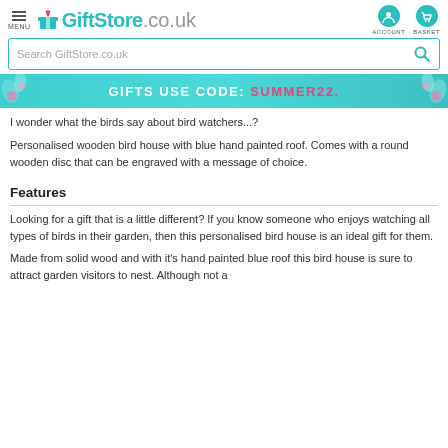GiftStore.co.uk — MENU | ACCOUNT | BASKET
[Figure (screenshot): Search bar with 'Search GiftStore.co.uk' placeholder and teal magnifying glass icon]
[Figure (infographic): Teal banner with text: GIFTS USE CODE: SUMMER22. with floral decorations on left and right]
I wonder what the birds say about bird watchers...?
Personalised wooden bird house with blue hand painted roof. Comes with a round wooden disc that can be engraved with a message of choice.
Features
Looking for a gift that is a little different? If you know someone who enjoys watching all types of birds in their garden, then this personalised bird house is an ideal gift for them.
Made from solid wood and with it's hand painted blue roof this bird house is sure to attract garden visitors to nest. Although not a